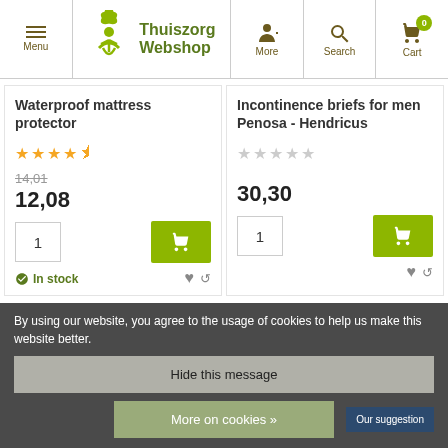Thuiszorg Webshop — Menu | More | Search | Cart (0)
Waterproof mattress protector
Incontinence briefs for men Penosa - Hendricus
Rating: 4.5 stars
Rating: 0 stars
14,01 (old price) 12,08
30,30
Qty: 1 — Add to cart
Qty: 1 — Add to cart
In stock
By using our website, you agree to the usage of cookies to help us make this website better.
Hide this message
More on cookies »
Our suggestion